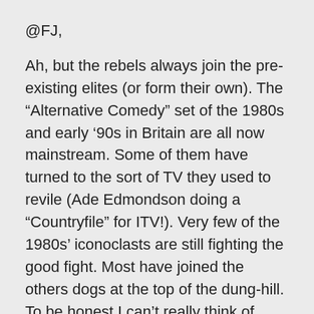@FJ,
Ah, but the rebels always join the pre-existing elites (or form their own). The “Alternative Comedy” set of the 1980s and early ’90s in Britain are all now mainstream. Some of them have turned to the sort of TV they used to revile (Ade Edmondson doing a “Countryfile” for ITV!). Very few of the 1980s’ iconoclasts are still fighting the good fight. Most have joined the others dogs at the top of the dung-hill. To be honest I can’t really think of anyone in Britain of that era who still